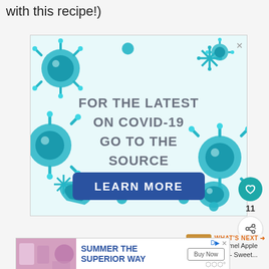with this recipe!)
[Figure (illustration): COVID-19 public health advertisement banner with cartoon virus illustrations. Text reads: FOR THE LATEST ON COVID-19 GO TO THE SOURCE. Blue button: LEARN MORE.]
[Figure (infographic): Social sidebar with heart icon, count of 11, and share icon]
[Figure (photo): What's Next thumbnail: Caramel Apple Bars - Sweet...]
[Figure (screenshot): Bottom advertisement banner: SUMMER THE SUPERIOR WAY with Buy Now button]